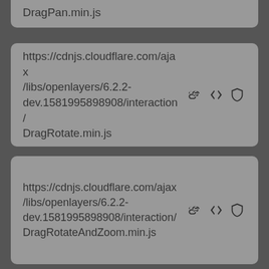DragPan.min.js
https://cdnjs.cloudflare.com/ajax/libs/openlayers/6.2.2-dev.1581995898908/interaction/DragRotate.min.js
https://cdnjs.cloudflare.com/ajax/libs/openlayers/6.2.2-dev.1581995898908/interaction/DragRotateAndZoom.min.js
https://cdnjs.cloudflare.com/ajax/libs/openlayers/6.2.2-dev.1581995898908/interaction/DragZoom.min.js